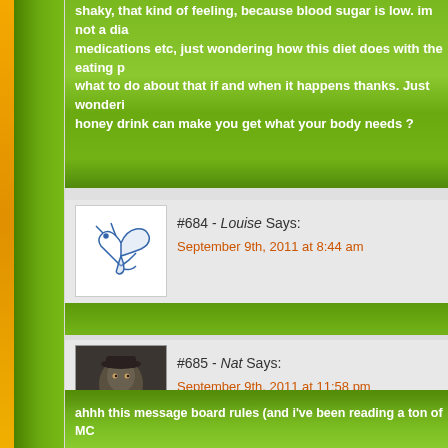shaky, that kind of feeling, because blood sugar is low. im not a dia medications etc, just wondering how this diet does with the eating p what to do about that if and when it happens thanks. Just wonderi honey drink can make you get what your body needs ?
#684 - Louise Says:
September 9th, 2011 at 8:44 am
Hi sass – it's very good as a detox but not a good diet as the weight – not all as long as you eat healthy after but the detox is only meant of your bod. But you can kick start your diet with the detox! Don't the maple syrup. I did a lot of research before I did my first detox – books at the library on the lemon detox as well as tons of websites.
#685 - Nat Says:
September 9th, 2011 at 11:58 pm
ahhh this message board rules (and i've been reading a ton of MC